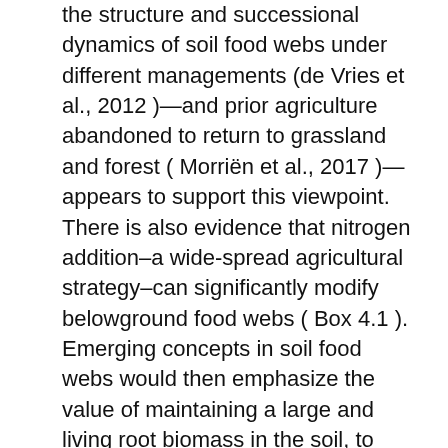the structure and successional dynamics of soil food webs under different managements (de Vries et al., 2012 )—and prior agriculture abandoned to return to grassland and forest ( Morriën et al., 2017 )—appears to support this viewpoint. There is also evidence that nitrogen addition–a wide-spread agricultural strategy–can significantly modify belowground food webs ( Box 4.1 ). Emerging concepts in soil food webs would then emphasize the value of maintaining a large and living root biomass in the soil, to provide the labile compounds that most efficiently fuel microbial productivity and hence the soil animals that rely on this basal resource. However, the traditional view of soil food webs (which instead would emphasize the return of low quality, structurally complex,